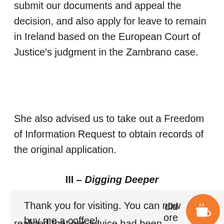As a last ditch effort, she had advised us to re-submit our documents and appeal the decision, and also apply for leave to remain in Ireland based on the European Court of Justice’s judgment in the Zambrano case.
She also advised us to take out a Freedom of Information Request to obtain records of the original application.
III – Digging Deeper
Thank you for visiting. You can now buy me a coffee!
realized that her advice had been misleading.